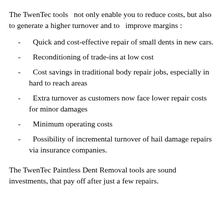The TwenTec tools  not only enable you to reduce costs, but also to generate a higher turnover and to  improve margins :
Quick and cost-effective repair of small dents in new cars.
Reconditioning of trade-ins at low cost
Cost savings in traditional body repair jobs, especially in hard to reach areas
Extra turnover as customers now face lower repair costs for minor damages
Minimum operating costs
Possibility of incremental turnover of hail damage repairs via insurance companies.
The TwenTec Paintless Dent Removal tools are sound investments, that pay off after just a few repairs.